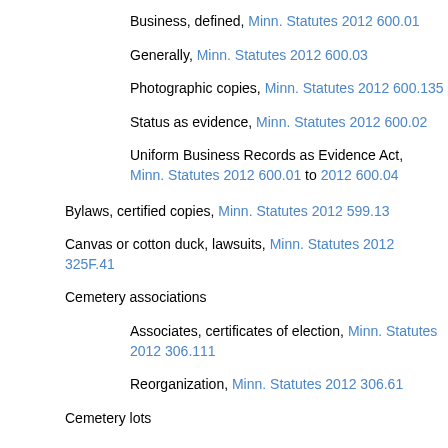Business, defined, Minn. Statutes 2012 600.01
Generally, Minn. Statutes 2012 600.03
Photographic copies, Minn. Statutes 2012 600.135
Status as evidence, Minn. Statutes 2012 600.02
Uniform Business Records as Evidence Act, Minn. Statutes 2012 600.01 to 2012 600.04
Bylaws, certified copies, Minn. Statutes 2012 599.13
Canvas or cotton duck, lawsuits, Minn. Statutes 2012 325F.41
Cemetery associations
Associates, certificates of election, Minn. Statutes 2012 306.111
Reorganization, Minn. Statutes 2012 306.61
Cemetery lots